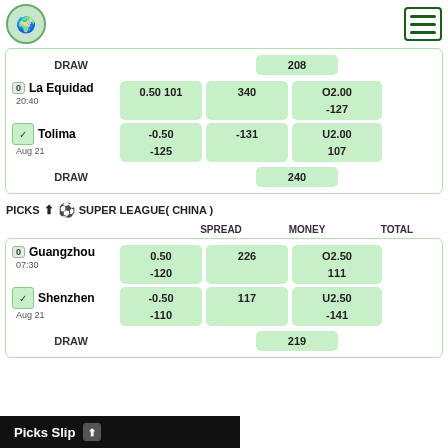Logo and hamburger menu
| Team | SPREAD | MONEY | TOTAL |
| --- | --- | --- | --- |
| La Equidad 20:40 | 0.50 101 | 340 | O2.00 -127 |
| Tolima Aug 21 | -0.50 -125 | -131 | U2.00 107 |
| DRAW |  | 240 |  |
PICKS ⬆ ⚽ SUPER LEAGUE( CHINA )
| Team | SPREAD | MONEY | TOTAL |
| --- | --- | --- | --- |
| Guangzhou 07:30 | 0.50 -120 | 226 | O2.50 111 |
| Shenzhen Aug 21 | -0.50 -110 | 117 | U2.50 -141 |
| DRAW |  | 219 |  |
Picks Slip ⬆